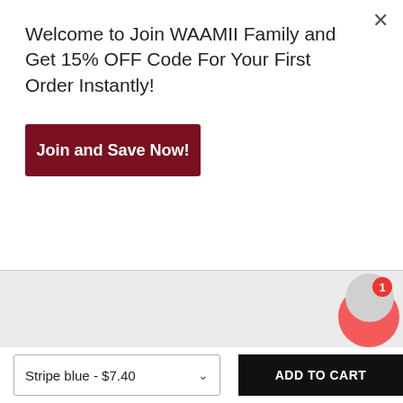Welcome to Join WAAMII Family and Get 15% OFF Code For Your First Order Instantly!
Join and Save Now!
[Figure (photo): Product image area showing light gray background with bold red text 'Red']
Stripe blue - $7.40
ADD TO CART